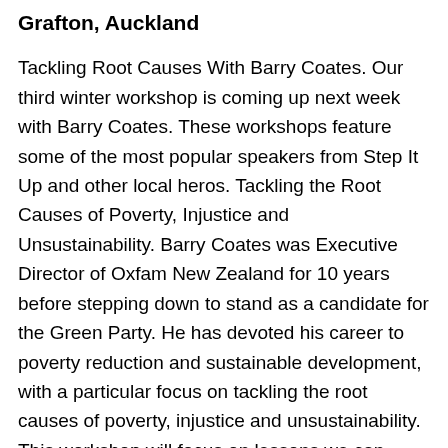Grafton, Auckland
Tackling Root Causes With Barry Coates. Our third winter workshop is coming up next week with Barry Coates. These workshops feature some of the most popular speakers from Step It Up and other local heros. Tackling the Root Causes of Poverty, Injustice and Unsustainability. Barry Coates was Executive Director of Oxfam New Zealand for 10 years before stepping down to stand as a candidate for the Green Party. He has devoted his career to poverty reduction and sustainable development, with a particular focus on tackling the root causes of poverty, injustice and unsustainability. This workshop will focus on lessons we can learn from from recent campaigns such as against the Multilateral Agreement on Investment and TPPA, WTO and Pacific Trade campaigns, Make Poverty History, and Climate Change. The focus will be on some of